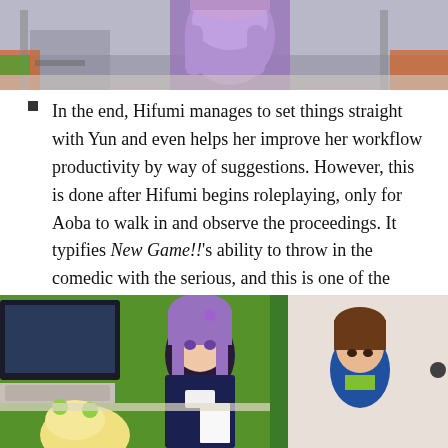[Figure (photo): Anime scene showing a character in a purple outfit from behind, seated at what appears to be an office or studio environment with chairs visible.]
In the end, Hifumi manages to set things straight with Yun and even helps her improve her workflow productivity by way of suggestions. However, this is done after Hifumi begins roleplaying, only for Aoba to walk in and observe the proceedings. It typifies New Game!!'s ability to throw in the comedic with the serious, and this is one of the greatest strengths of the second season so far.
[Figure (photo): Anime scene showing characters in an office setting: a purple-haired girl with a name tag sitting at a desk with a computer, a blonde character in the foreground, and a brown-haired character to the right, with green office dividers and computer equipment visible.]